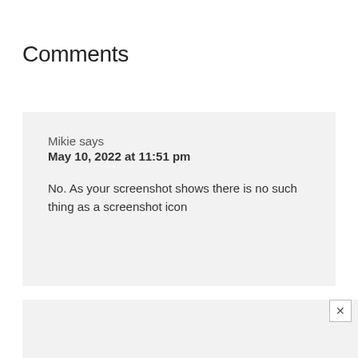Comments
Mikie says
May 10, 2022 at 11:51 pm

No. As your screenshot shows there is no such thing as a screenshot icon
Roger says
May 5, 2022 at 5:04 am